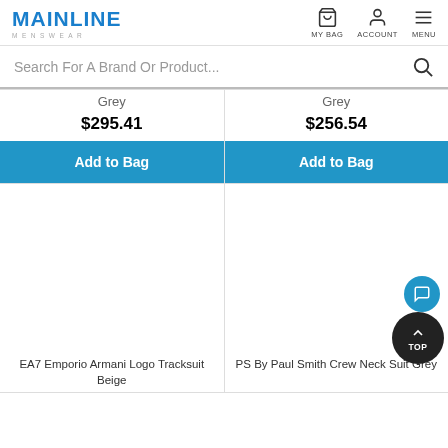[Figure (logo): Mainline Menswear logo — bold blue MAINLINE text with MENSWEAR subtitle in grey]
MY BAG   ACCOUNT   MENU
Search For A Brand Or Product...
Grey
$295.41
Add to Bag
Grey
$256.54
Add to Bag
[Figure (photo): EA7 Emporio Armani Logo Tracksuit Beige product image (blank/white area)]
EA7 Emporio Armani Logo Tracksuit Beige
[Figure (photo): PS By Paul Smith Crew Neck Suit Grey product image (blank/white area)]
PS By Paul Smith Crew Neck Suit Grey